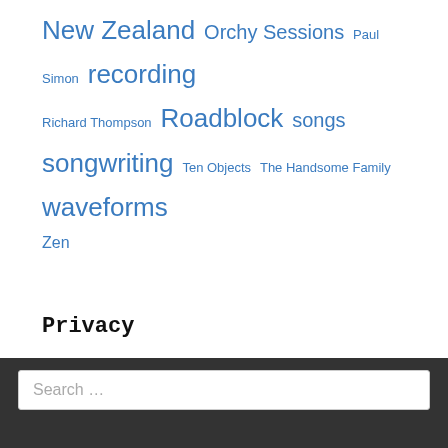New Zealand Orchy Sessions Paul Simon recording Richard Thompson Roadblock songs songwriting Ten Objects The Handsome Family waveforms Zen
Privacy
Privacy policy
Search …